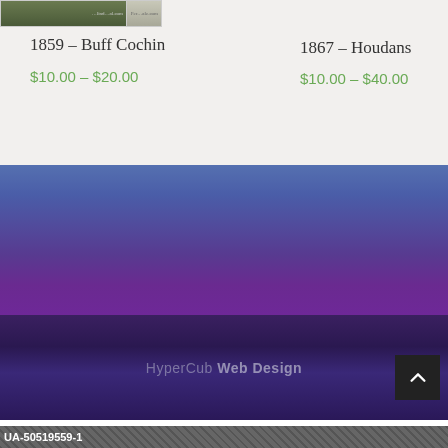[Figure (photo): Partial product image for 1859 Buff Cochin with watermark text]
1859 – Buff Cochin
$10.00 – $20.00
[Figure (photo): Partial product image for 1867 Houdans with watermark text]
1867 – Houdans
$10.00 – $40.00
[Figure (illustration): Blue to purple gradient background section (website footer area)]
HyperCub Web Design
UA-50519559-1